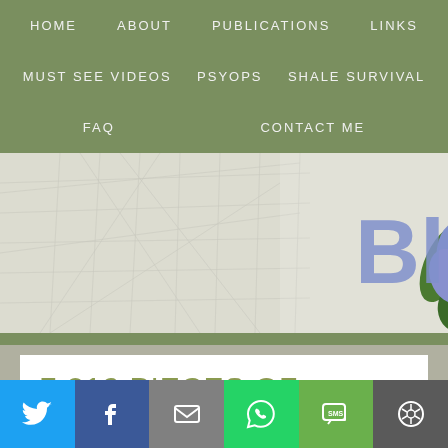HOME   ABOUT   PUBLICATIONS   LINKS   MUST SEE VIDEOS   PSYOPS   SHALE SURVIVAL   FAQ   CONTACT ME
[Figure (illustration): Website banner with a faded map background, a blue flower, and partial blue text reading 'Blu']
7,812 PIECES OF
[Figure (infographic): Social sharing bar with Twitter, Facebook, Email, WhatsApp, SMS, and share icons on colored backgrounds]